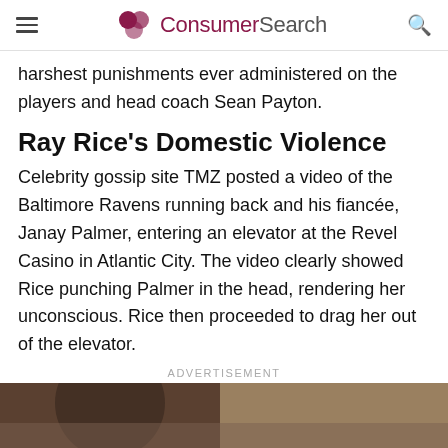ConsumerSearch
harshest punishments ever administered on the players and head coach Sean Payton.
Ray Rice's Domestic Violence
Celebrity gossip site TMZ posted a video of the Baltimore Ravens running back and his fiancée, Janay Palmer, entering an elevator at the Revel Casino in Atlantic City. The video clearly showed Rice punching Palmer in the head, rendering her unconscious. Rice then proceeded to drag her out of the elevator.
ADVERTISEMENT
[Figure (photo): Bottom portion of a photo showing what appears to be a person, partially cropped at the bottom of the page.]